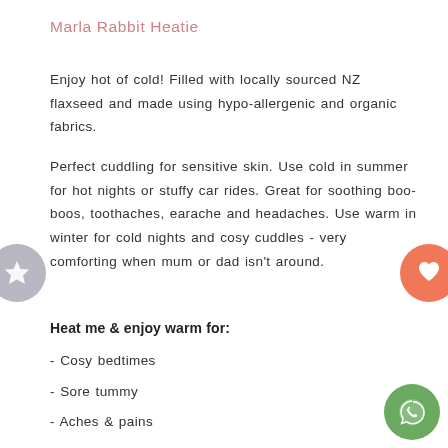Marla Rabbit Heatie
Enjoy hot of cold! Filled with locally sourced NZ flaxseed and made using hypo-allergenic and organic fabrics.
Perfect cuddling for sensitive skin. Use cold in summer for hot nights or stuffy car rides. Great for soothing boo-boos, toothaches, earache and headaches. Use warm in winter for cold nights and cosy cuddles - very comforting when mum or dad isn't around.
Heat me & enjoy warm for:
- Cosy bedtimes
- Sore tummy
- Aches & pains
- Warm cuddles
- Play & snuggles